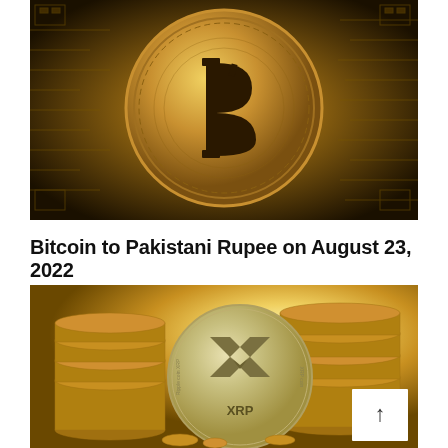[Figure (photo): Close-up macro photograph of a gold Bitcoin coin showing the Bitcoin symbol (฿) with circuit board patterns and engravings on a dark gold background]
Bitcoin to Pakistani Rupee on August 23, 2022
[Figure (photo): Gold XRP Ripple coin standing upright surrounded by stacked gold coins with a bright warm golden glowing background. The coin displays the XRP logo and text 'XRP' and 'Ripple coin XRP'. A white scroll-to-top button with an upward arrow is overlaid in the bottom-right corner.]